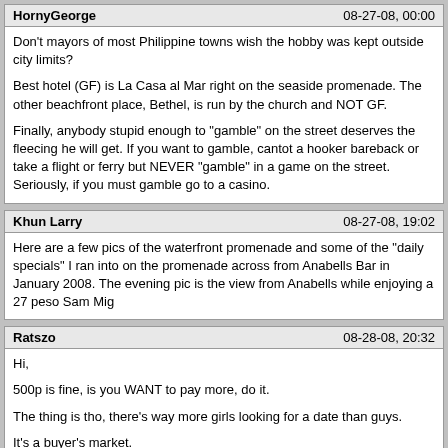HornyGeorge | 08-27-08, 00:00
Don't mayors of most Philippine towns wish the hobby was kept outside city limits?

Best hotel (GF) is La Casa al Mar right on the seaside promenade. The other beachfront place, Bethel, is run by the church and NOT GF.

Finally, anybody stupid enough to "gamble" on the street deserves the fleecing he will get. If you want to gamble, cantot a hooker bareback or take a flight or ferry but NEVER "gamble" in a game on the street. Seriously, if you must gamble go to a casino.
Khun Larry | 08-27-08, 19:02
Here are a few pics of the waterfront promenade and some of the "daily specials" I ran into on the promenade across from Anabells Bar in January 2008. The evening pic is the view from Anabells while enjoying a 27 peso Sam Mig
Ratszo | 08-28-08, 20:32
Hi,

500p is fine, is you WANT to pay more, do it.

The thing is tho, there's way more girls looking for a date than guys.

It's a buyer's market.

Tocino country isn't for a tourist --way out of the comfort zone.

But really, there's no other place to go for a quick hook-up.

No fuss.